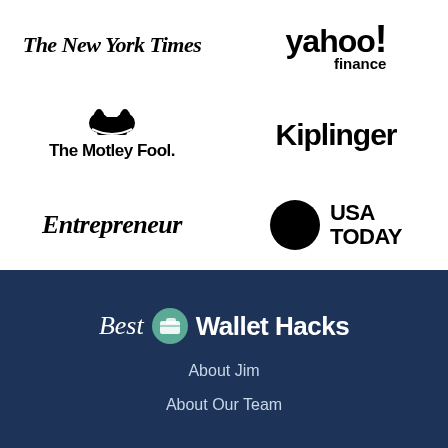[Figure (logo): The New York Times logo in blackletter font]
[Figure (logo): Yahoo Finance logo in bold sans-serif]
[Figure (logo): The Motley Fool logo with jester hat icon]
[Figure (logo): Kiplinger logo in bold sans-serif]
[Figure (logo): Entrepreneur logo in italic serif]
[Figure (logo): USA TODAY logo with black circle dot]
[Figure (logo): Best Wallet Hacks logo with wallet icon]
About Jim
About Our Team